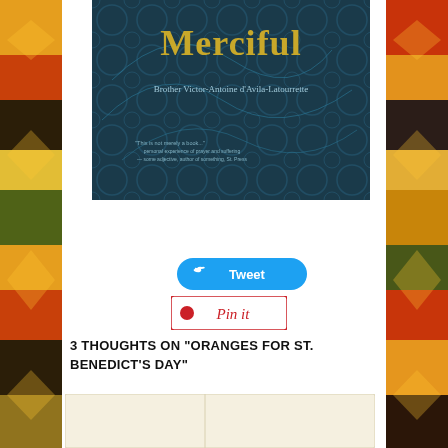[Figure (photo): Book cover for 'Merciful' by Brother Victor-Antoine d'Avila-Latourrette, dark blue cover with ornate pattern and text]
[Figure (other): Tweet button - blue rounded button with Twitter bird icon and 'Tweet' text]
[Figure (other): Pinterest Pin it button - white button with red cursive 'Pin it' text and border]
3 THOUGHTS ON "ORANGES FOR ST. BENEDICT'S DAY"
[Figure (other): Comment form area - beige/cream colored form boxes for user input]